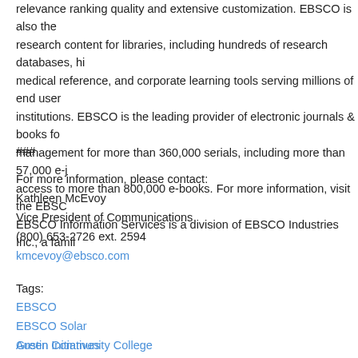relevance ranking quality and extensive customization. EBSCO is also the research content for libraries, including hundreds of research databases, hi medical reference, and corporate learning tools serving millions of end user institutions. EBSCO is the leading provider of electronic journals & books fo management for more than 360,000 serials, including more than 57,000 e-j access to more than 800,000 e-books. For more information, visit the EBSC EBSCO Information Services is a division of EBSCO Industries Inc., a famil
###
For more information, please contact:
Kathleen McEvoy
Vice President of Communications
(800) 653-2726 ext. 2594
kmcevoy@ebsco.com
Tags:
EBSCO
EBSCO Solar
Austin Community College
Green Initiatives
Organization Type: